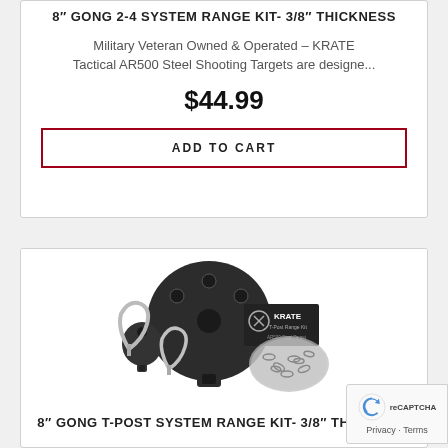8" GONG 2-4 SYSTEM RANGE KIT- 3/8" THICKNESS
Military Veteran Owned & Operated – KRATE Tactical AR500 Steel Shooting Targets are designe...
$44.99
ADD TO CART
[Figure (photo): Photo of a Krate Tactical 8-inch gong T-post system range kit showing a steel gong target, mounting hardware, carabiners, and a bag of chain links with a Krate branded label.]
8" GONG T-POST SYSTEM RANGE KIT- 3/8" THICKNESS